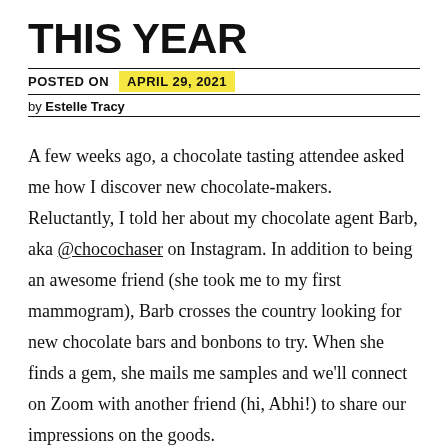THIS YEAR
POSTED ON  APRIL 29, 2021
by Estelle Tracy
A few weeks ago, a chocolate tasting attendee asked me how I discover new chocolate-makers. Reluctantly, I told her about my chocolate agent Barb, aka @chocochaser on Instagram. In addition to being an awesome friend (she took me to my first mammogram), Barb crosses the country looking for new chocolate bars and bonbons to try. When she finds a gem, she mails me samples and we'll connect on Zoom with another friend (hi, Abhi!) to share our impressions on the goods.